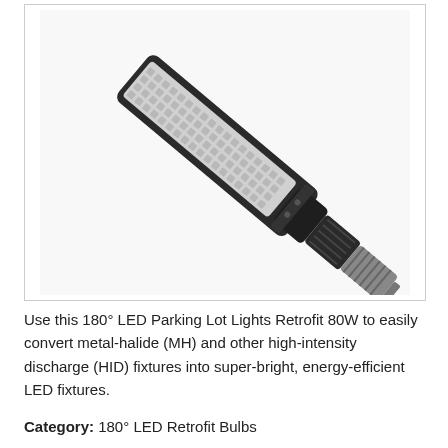[Figure (photo): A diagonal LED parking lot light retrofit bulb with a flat rectangular LED panel on one end and a standard screw-in Edison base (E39) on the other. The body is dark grey/black with cooling fins. The LED panel shows a grid of small LEDs.]
Use this 180° LED Parking Lot Lights Retrofit 80W to easily convert metal-halide (MH) and other high-intensity discharge (HID) fixtures into super-bright, energy-efficient LED fixtures.
Category: 180° LED Retrofit Bulbs